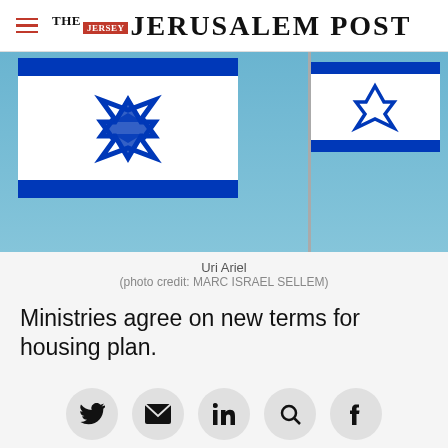THE JERUSALEM POST
[Figure (photo): A man in a dark jacket standing in front of Israeli flags against a blue sky. The figure is Uri Ariel.]
Uri Ariel
(photo credit: MARC ISRAEL SELLEM)
Ministries agree on new terms for housing plan.
[Figure (other): Social sharing icons: Twitter, Email, LinkedIn, Search/other, Facebook]
Advertisement